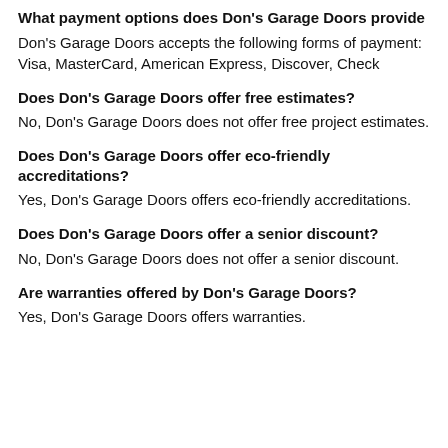What payment options does Don's Garage Doors provide
Don's Garage Doors accepts the following forms of payment: Visa, MasterCard, American Express, Discover, Check
Does Don's Garage Doors offer free estimates?
No, Don's Garage Doors does not offer free project estimates.
Does Don's Garage Doors offer eco-friendly accreditations?
Yes, Don's Garage Doors offers eco-friendly accreditations.
Does Don's Garage Doors offer a senior discount?
No, Don's Garage Doors does not offer a senior discount.
Are warranties offered by Don's Garage Doors?
Yes, Don's Garage Doors offers warranties.